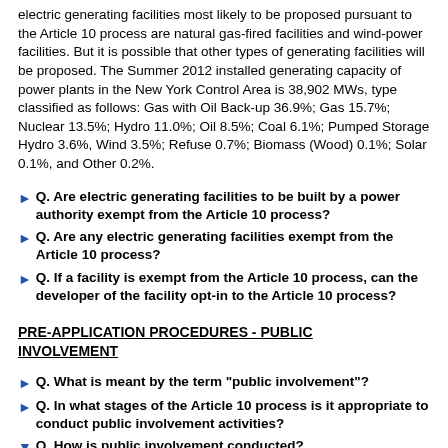electric generating facilities most likely to be proposed pursuant to the Article 10 process are natural gas-fired facilities and wind-power facilities. But it is possible that other types of generating facilities will be proposed. The Summer 2012 installed generating capacity of power plants in the New York Control Area is 38,902 MWs, type classified as follows: Gas with Oil Back-up 36.9%; Gas 15.7%; Nuclear 13.5%; Hydro 11.0%; Oil 8.5%; Coal 6.1%; Pumped Storage Hydro 3.6%, Wind 3.5%; Refuse 0.7%; Biomass (Wood) 0.1%; Solar 0.1%, and Other 0.2%.
Q. Are electric generating facilities to be built by a power authority exempt from the Article 10 process?
Q. Are any electric generating facilities exempt from the Article 10 process?
Q. If a facility is exempt from the Article 10 process, can the developer of the facility opt-in to the Article 10 process?
PRE-APPLICATION PROCEDURES - PUBLIC INVOLVEMENT
Q. What is meant by the term "public involvement"?
Q. In what stages of the Article 10 process is it appropriate to conduct public involvement activities?
Q. How is public involvement conducted?